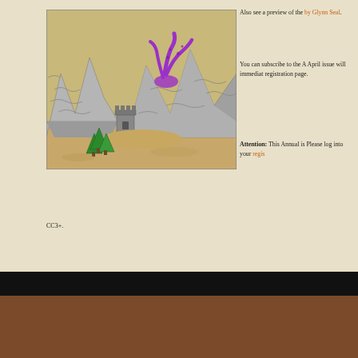[Figure (illustration): Fantasy map illustration showing mountains, a castle tower, purple tentacle creature, and green trees on a beige/tan background with grey mountain peaks rendered in a classic RPG map style.]
Also see a preview of the [link: by Glynn Seal].
You can subscribe to the A April issue will immediat registration page.
Attention: This Annual is Please log into your regis CC3+.
© Profantasy's Map-Making Journal | ©2020 ProFantasy Softw